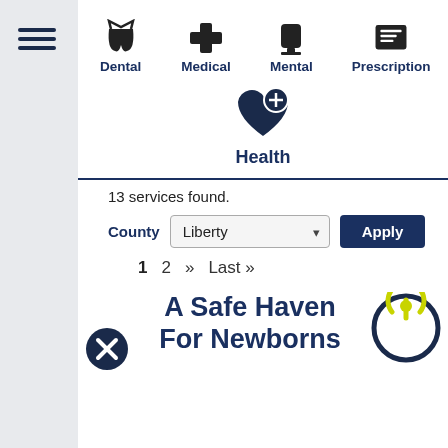[Figure (screenshot): Navigation icons row: Dental, Medical, Mental, Prescription with icons at top]
[Figure (illustration): Health icon: dark heart with plus sign]
Health
13 services found.
County  Liberty  Apply
1  2  »  Last »
A Safe Haven For Newborns